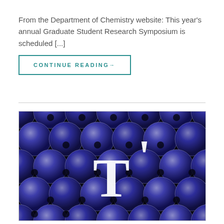From the Department of Chemistry website: This year's annual Graduate Student Research Symposium is scheduled [...]
CONTINUE READING→
[Figure (photo): Microscopy image showing a regular array of purple/blue spherical particles (likely colloidal spheres or nanoparticles) arranged in a hexagonal close-packed pattern, with white letter 'T' and apostrophe overlaid on the center of the image. The spheres appear dark purple with lighter edges and dark spots (holes), against a black background.]